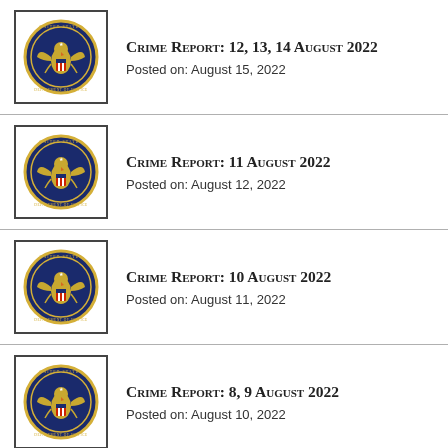Crime Report: 12, 13, 14 August 2022 — Posted on: August 15, 2022
Crime Report: 11 August 2022 — Posted on: August 12, 2022
Crime Report: 10 August 2022 — Posted on: August 11, 2022
Crime Report: 8, 9 August 2022 — Posted on: August 10, 2022
Crime Report: 5, 6, 7 August 2022 — Posted on: August 8, 2022
Crime Report: 4 August 2022